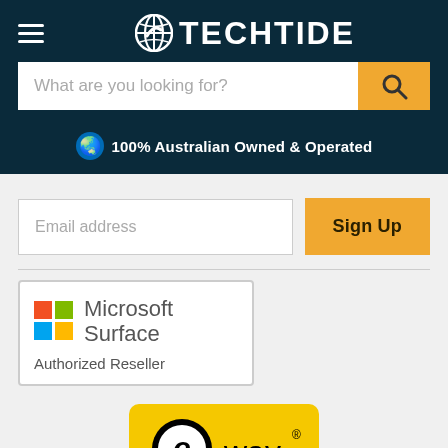TECHTIDE
What are you looking for?
🌏 100% Australian Owned & Operated
Email address
Sign Up
[Figure (logo): Microsoft Surface Authorized Reseller badge with colorful Windows logo grid]
[Figure (logo): eWay payment logo on yellow background]